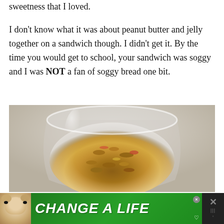sweetness that I loved.

I don't know what it was about peanut butter and jelly together on a sandwich though. I didn't get it. By the time you would get to school, your sandwich was soggy and I was NOT a fan of soggy bread one bit.
[Figure (photo): Close-up photograph of granola or trail mix in a clear glass jar, shot from above at an angle, with a blurred light background.]
CHANGE A LIFE [advertisement banner with dog image]